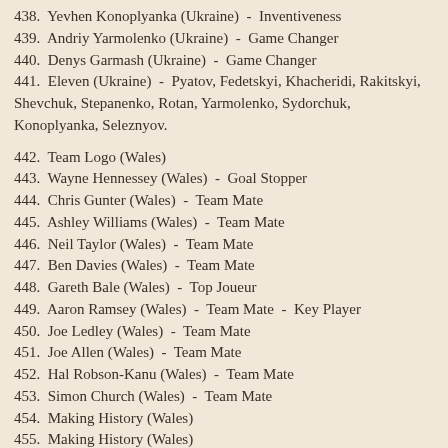438.  Yevhen Konoplyanka (Ukraine)  -  Inventiveness
439.  Andriy Yarmolenko (Ukraine)  -  Game Changer
440.  Denys Garmash (Ukraine)  -  Game Changer
441.  Eleven (Ukraine)  -  Pyatov, Fedetskyi, Khacheridi, Rakitskyi, Shevchuk, Stepanenko, Rotan, Yarmolenko, Sydorchuk, Konoplyanka, Seleznyov.
442.  Team Logo (Wales)
443.  Wayne Hennessey (Wales)  -  Goal Stopper
444.  Chris Gunter (Wales)  -  Team Mate
445.  Ashley Williams (Wales)  -  Team Mate
446.  Neil Taylor (Wales)  -  Team Mate
447.  Ben Davies (Wales)  -  Team Mate
448.  Gareth Bale (Wales)  -  Top Joueur
449.  Aaron Ramsey (Wales)  -  Team Mate  -  Key Player
450.  Joe Ledley (Wales)  -  Team Mate
451.  Joe Allen (Wales)  -  Team Mate
452.  Hal Robson-Kanu (Wales)  -  Team Mate
453.  Simon Church (Wales)  -  Team Mate
454.  Making History (Wales)
455.  Making History (Wales)
456.  Jonathan Williams (Wales)  -  Next Generation
456.  George Williams (Wales)  -  Next Generation